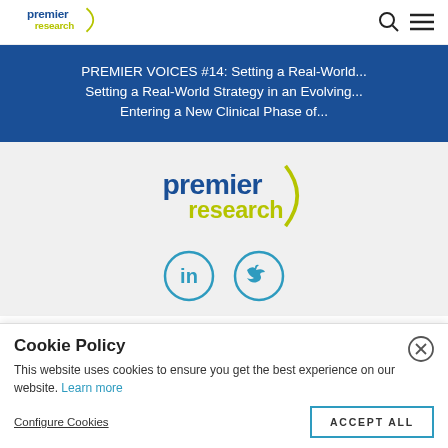premier research [logo] [search icon] [menu icon]
PREMIER VOICES #14: Setting a Real-World...
Setting a Real-World Strategy in an Evolving...
Entering a New Clinical Phase of...
[Figure (logo): Premier Research logo with arc graphic, blue and yellow-green text]
[Figure (infographic): LinkedIn and Twitter social media icons in teal circles]
Cookie Policy
This website uses cookies to ensure you get the best experience on our website. Learn more
Configure Cookies
ACCEPT ALL